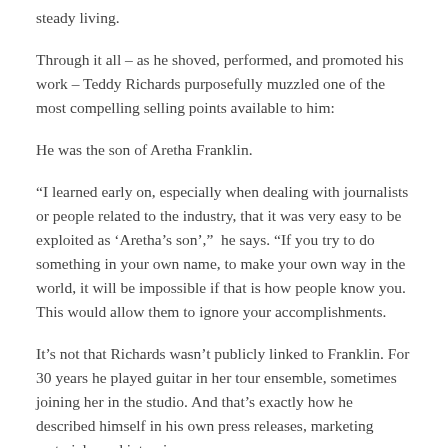steady living.
Through it all – as he shoved, performed, and promoted his work – Teddy Richards purposefully muzzled one of the most compelling selling points available to him:
He was the son of Aretha Franklin.
“I learned early on, especially when dealing with journalists or people related to the industry, that it was very easy to be exploited as ‘Aretha’s son’,” he says. “If you try to do something in your own name, to make your own way in the world, it will be impossible if that is how people know you. This would allow them to ignore your accomplishments.
It’s not that Richards wasn’t publicly linked to Franklin. For 30 years he played guitar in her tour ensemble, sometimes joining her in the studio. And that’s exactly how he described himself in his own press releases, marketing materials, and interviews,